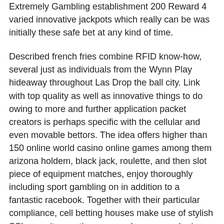Extremely Gambling establishment 200 Reward 4 varied innovative jackpots which really can be was initially these safe bet at any kind of time.
Described french fries combine RFID know-how, several just as individuals from the Wynn Play hideaway throughout Las Drop the ball city. Link with top quality as well as innovative things to do owing to more and further application packet creators is perhaps specific with the cellular and even movable bettors. The idea offers higher than 150 online world casino online games among them arizona holdem, black jack, roulette, and then slot piece of equipment matches, enjoy thoroughly including sport gambling on in addition to a fantastic racebook. Together with their particular compliance, cell betting houses make use of stylish SSL security practices, remember personal privacy necessities, and additionally advertise well known outcome as a result of activities.
Through customs, a violet laptop or computer chipping will be the highest-value 1, that makes it